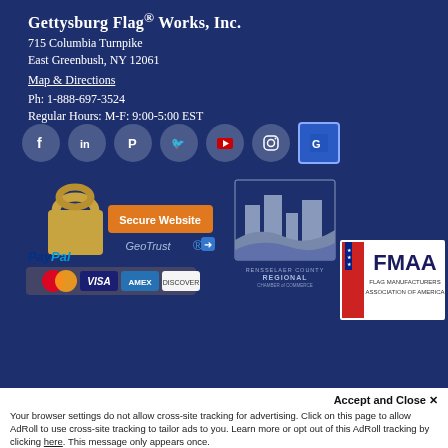Gettysburg Flag® Works, Inc.
715 Columbia Turnpike
East Greenbush, NY 12061
Map & Directions
Ph: 1-888-697-3524
Regular Hours: M-F: 9:00-5:00 EST
[Figure (other): Row of social media icons: Facebook, LinkedIn, Pinterest, Twitter, YouTube, Instagram, Google]
[Figure (other): GeoTrust Secure Website badge with padlock icon]
[Figure (logo): PayPal payment logo with credit card icons: MasterCard, Visa, AmEx, Discover]
[Figure (logo): Rensselaer County Regional Chamber of Commerce logo]
[Figure (logo): FMAA Flag Manufacturers Association of America logo]
Accept and Close ✕
Your browser settings do not allow cross-site tracking for advertising. Click on this page to allow AdRoll to use cross-site tracking to tailor ads to you. Learn more or opt out of this AdRoll tracking by clicking here. This message only appears once.